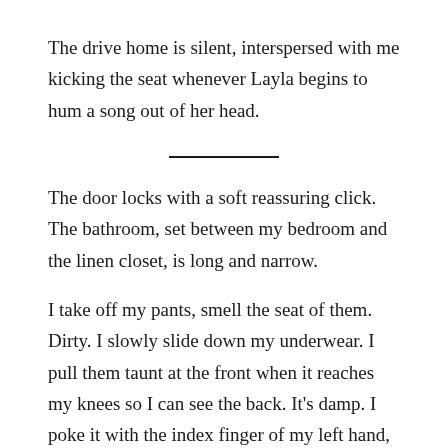The drive home is silent, interspersed with me kicking the seat whenever Layla begins to hum a song out of her head.
The door locks with a soft reassuring click. The bathroom, set between my bedroom and the linen closet, is long and narrow.
I take off my pants, smell the seat of them. Dirty. I slowly slide down my underwear. I pull them taunt at the front when it reaches my knees so I can see the back. It's damp. I poke it with the index finger of my left hand, smell it. I let it fall to the beige tiled floor.